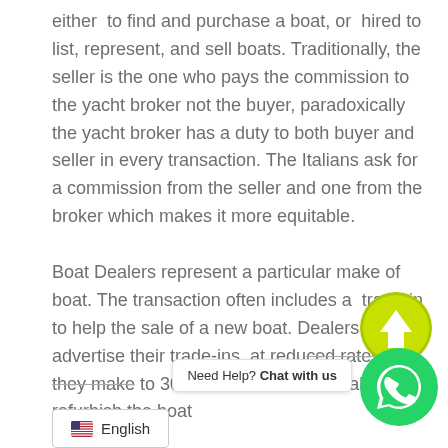either to find and purchase a boat, or hired to list, represent, and sell boats. Traditionally, the seller is the one who pays the commission to the yacht broker not the buyer, paradoxically the yacht broker has a duty to both buyer and seller in every transaction. The Italians ask for a commission from the seller and one from the broker which makes it more equitable.

Boat Dealers represent a particular make of boat. The transaction often includes a trade-in to help the sale of a new boat. Dealers advertise their trade-ins, at reduced rates as they make to 30% on the sale of [new boats]. [Sometimes] dealers will refurbish the boat
[Figure (other): Green circular scroll-to-top button with upward arrow icon]
[Figure (other): WhatsApp green circular chat button with WhatsApp logo, with 'Need Help? Chat with us' bubble]
[Figure (other): Language selector box showing US flag emoji and 'English' label]